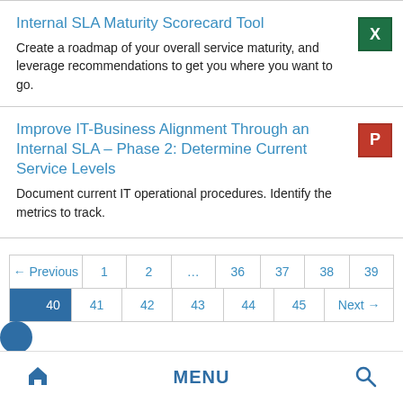Internal SLA Maturity Scorecard Tool
Create a roadmap of your overall service maturity, and leverage recommendations to get you where you want to go.
Improve IT-Business Alignment Through an Internal SLA – Phase 2: Determine Current Service Levels
Document current IT operational procedures. Identify the metrics to track.
← Previous  1  2  …  36  37  38  39  40  41  42  43  44  45  Next →